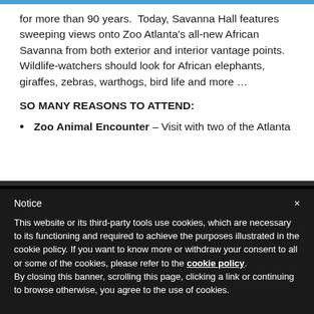for more than 90 years.  Today, Savanna Hall features sweeping views onto Zoo Atlanta's all-new African Savanna from both exterior and interior vantage points. Wildlife-watchers should look for African elephants, giraffes, zebras, warthogs, bird life and more …
SO MANY REASONS TO ATTEND:
Zoo Animal Encounter – Visit with two of the Atlanta …
Notice
This website or its third-party tools use cookies, which are necessary to its functioning and required to achieve the purposes illustrated in the cookie policy. If you want to know more or withdraw your consent to all or some of the cookies, please refer to the cookie policy.
By closing this banner, scrolling this page, clicking a link or continuing to browse otherwise, you agree to the use of cookies.